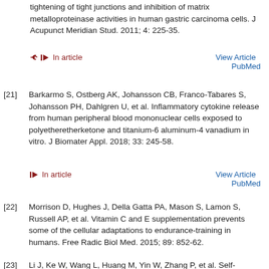tightening of tight junctions and inhibition of matrix metalloproteinase activities in human gastric carcinoma cells. J Acupunct Meridian Stud. 2011; 4: 225-35.
↩ In article    View Article  PubMed
[21]  Barkarmo S, Ostberg AK, Johansson CB, Franco-Tabares S, Johansson PH, Dahlgren U, et al. Inflammatory cytokine release from human peripheral blood mononuclear cells exposed to polyetheretherketone and titanium-6 aluminum-4 vanadium in vitro. J Biomater Appl. 2018; 33: 245-58.
↩ In article    View Article  PubMed
[22]  Morrison D, Hughes J, Della Gatta PA, Mason S, Lamon S, Russell AP, et al. Vitamin C and E supplementation prevents some of the cellular adaptations to endurance-training in humans. Free Radic Biol Med. 2015; 89: 852-62.
↩ In article    View Article  PubMed
[23]  Li J, Ke W, Wang L, Huang M, Yin W, Zhang P, et al. Self-